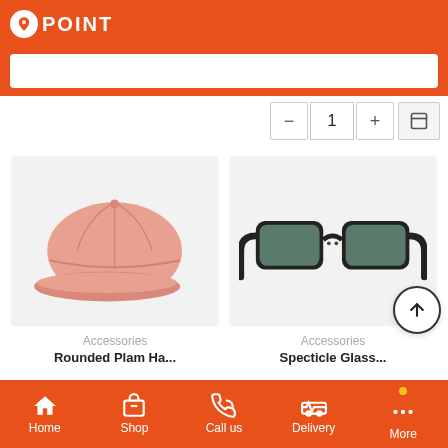POINT - App header with logo and navigation icons
[Figure (screenshot): Search input bar on orange header background]
[Figure (screenshot): Quantity selector with minus, 1, plus buttons and cart icon]
[Figure (photo): Pink baseball cap on light grey background]
Accessories
Rounded Plam Ha...
[Figure (photo): Black wayfarer sunglasses on light grey background]
Accessories
Specticle Glass...
Home  Shop  Call us  Delivery  More